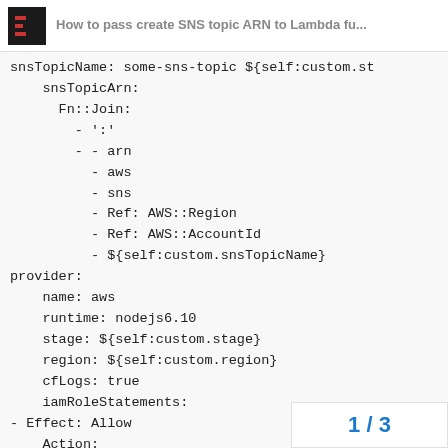How to pass create SNS topic ARN to Lambda fu...
snsTopicName: some-sns-topic ${self:custom.st
    snsTopicArn:
      Fn::Join:
        - ':'
        - - arn
          - aws
          - sns
          - Ref: AWS::Region
          - Ref: AWS::AccountId
          - ${self:custom.snsTopicName}
provider:
    name: aws
    runtime: nodejs6.10
    stage: ${self:custom.stage}
    region: ${self:custom.region}
    cfLogs: true
    iamRoleStatements:
- Effect: Allow
    Action:
1 / 3